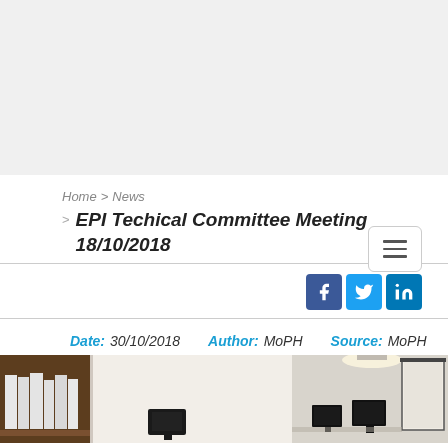[Figure (photo): Gray banner/header area at the top of the page]
Home > News
EPI Techical Committee Meeting 18/10/2018
[Figure (screenshot): Hamburger menu button (three horizontal lines) in a rounded rectangle]
[Figure (infographic): Social media icons: Facebook, Twitter, LinkedIn]
Date: 30/10/2018   Author: MoPH   Source: MoPH
[Figure (photo): Two photos showing a meeting room with bookshelves and monitors]